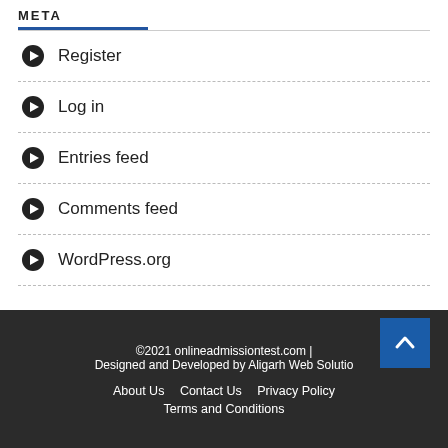META
Register
Log in
Entries feed
Comments feed
WordPress.org
©2021 onlineadmissiontest.com | Designed and Developed by Aligarh Web Solutio
About Us   Contact Us   Privacy Policy
Terms and Conditions